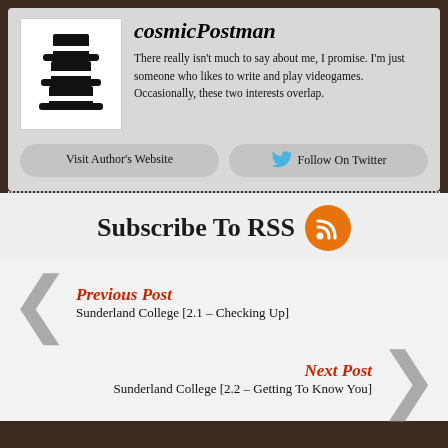[Figure (illustration): Black stacked top hats icon (author avatar for cosmicPostman)]
cosmicPostman
There really isn't much to say about me, I promise. I'm just someone who likes to write and play videogames. Occasionally, these two interests overlap.
Visit Author's Website
[Figure (logo): Twitter bird icon (blue)]
Follow On Twitter
Subscribe To RSS
[Figure (logo): RSS feed icon on orange circle]
Previous Post
Sunderland College [2.1 – Checking Up]
Next Post
Sunderland College [2.2 – Getting To Know You]